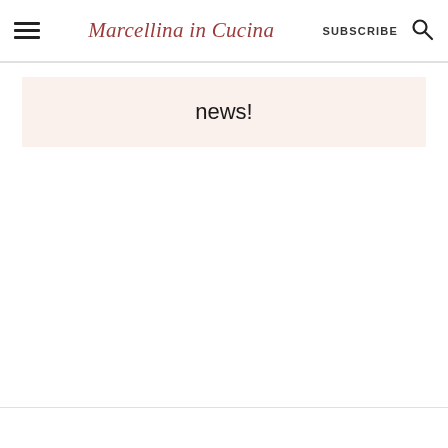Marcellina in Cucina  SUBSCRIBE
news!